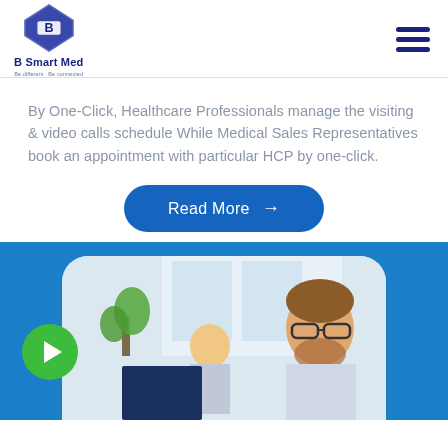[Figure (logo): B Smart Med logo with blue diamond shape and B letter inside, company name below]
By One-Click, Healthcare Professionals manage the visiting & video calls schedule While Medical Sales Representatives book an appointment with particular HCP by one-click.
[Figure (other): Read More button with arrow]
[Figure (photo): Two men working at computers in an office environment, photo with rounded top corners on blue background, green play button circle on left]